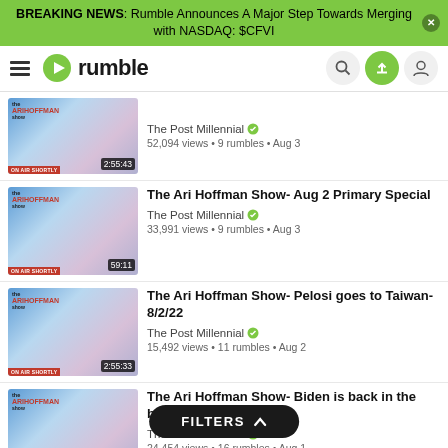BREAKING NEWS: Rumble Announces A Major Step Towards Merging with NASDAQ: $CFVI
[Figure (screenshot): Rumble video platform navigation bar with hamburger menu, Rumble logo, search, upload, and user account icons]
The Post Millennial • 52,094 views • 9 rumbles • Aug 3 [duration 2:55:43]
The Ari Hoffman Show- Aug 2 Primary Special | The Post Millennial • 33,991 views • 9 rumbles • Aug 3 [duration 59:11]
The Ari Hoffman Show- Pelosi goes to Taiwan- 8/2/22 | The Post Millennial • 15,492 views • 11 rumbles • Aug 2 [duration 2:55:33]
The Ari Hoffman Show- Biden is back in the bunker- 8/1/22 | The Post Millennial • 24,454 views • 16 rumbles • Aug 1 [duration 2:55:43]
The Ari Hoffman Show- Biden builds Trump's wall- 7/29/22 [partial]
FILTERS